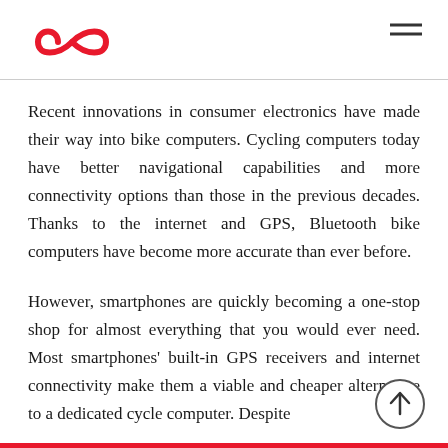[Logo: cycling infinity symbol] [hamburger menu icon]
Recent innovations in consumer electronics have made their way into bike computers. Cycling computers today have better navigational capabilities and more connectivity options than those in the previous decades. Thanks to the internet and GPS, Bluetooth bike computers have become more accurate than ever before.
However, smartphones are quickly becoming a one-stop shop for almost everything that you would ever need. Most smartphones' built-in GPS receivers and internet connectivity make them a viable and cheaper alternative to a dedicated cycle computer. Despite